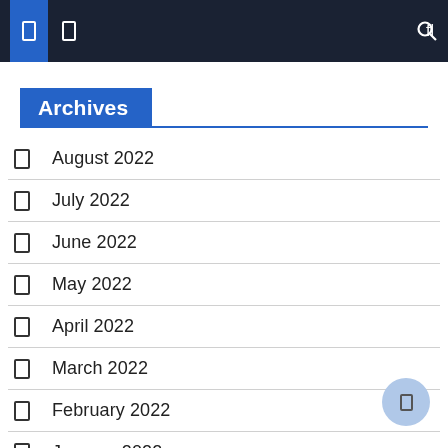Navigation bar with menu icons and search
Archives
August 2022
July 2022
June 2022
May 2022
April 2022
March 2022
February 2022
January 2022